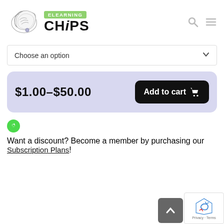[Figure (logo): eLearning CHiPS logo with chip illustration and green ELEARNING badge]
Choose an option
$1.00–$50.00
Add to cart 🛒
Want a discount? Become a member by purchasing our Subscription Plans!